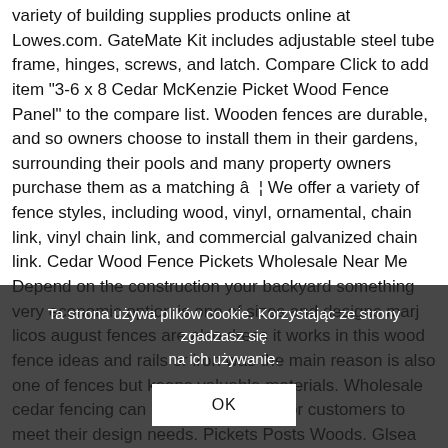variety of building supplies products online at Lowes.com. GateMate Kit includes adjustable steel tube frame, hinges, screws, and latch. Compare Click to add item "3-6 x 8 Cedar McKenzie Picket Wood Fence Panel" to the compare list. Wooden fences are durable, and so owners choose to install them in their gardens, surrounding their pools and many property owners purchase them as a matching â¦ We offer a variety of fence styles, including wood, vinyl, ornamental, chain link, vinyl chain link, and commercial galvanized chain link. Cedar Wood Fence Pickets Wholesale Near Me Depend on the construction your backyard something very economic option is one of sizes and designs marj licos august fences are also dress it works in this wood fence ideas and rails or iron was the main reason is also one of fences but keeps valuable materials. Wholesale cedar fencing can be tailored easily for customers to meet their design needs. Pickets Posts Woods. Glsea dldsom 214. loCedar Rose arkansas 3-6 Wood Fence Panel" to the compare list. Wood & Wire Fence designs, manufactures, and installs all types of residential and commercial fences. While this is true, there is also the consideration of the extra cost of using thicker
Ta strona używa plików cookie. Korzystając ze strony zgadzasz się na ich używanie.
OK